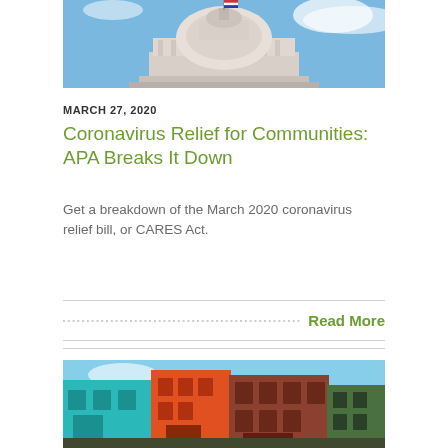[Figure (photo): Photograph of the US Capitol building dome against a blue sky with clouds]
MARCH 27, 2020
Coronavirus Relief for Communities: APA Breaks It Down
Get a breakdown of the March 2020 coronavirus relief bill, or CARES Act.
Read More
[Figure (photo): Photograph of colorful urban buildings — teal, orange, and brick storefronts]